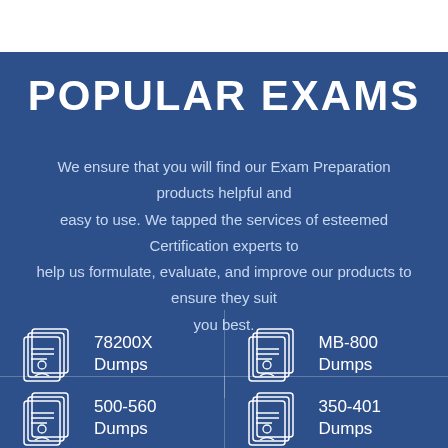POPULAR EXAMS
We ensure that you will find our Exam Preparation products helpful and easy to use. We tapped the services of esteemed Certification experts to help us formulate, evaluate, and improve our products to ensure they suit you best.
78200X Dumps
MB-800 Dumps
500-560 Dumps
350-401 Dumps